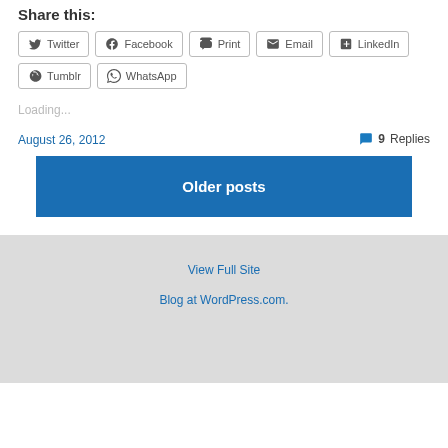Share this:
Twitter
Facebook
Print
Email
LinkedIn
Tumblr
WhatsApp
Loading...
August 26, 2012
9 Replies
Older posts
View Full Site
Blog at WordPress.com.